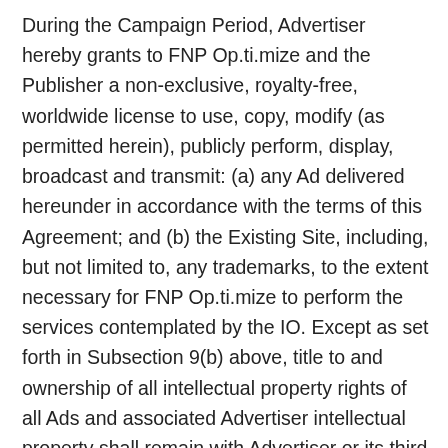During the Campaign Period, Advertiser hereby grants to FNP Op.ti.mize and the Publisher a non-exclusive, royalty-free, worldwide license to use, copy, modify (as permitted herein), publicly perform, display, broadcast and transmit: (a) any Ad delivered hereunder in accordance with the terms of this Agreement; and (b) the Existing Site, including, but not limited to, any trademarks, to the extent necessary for FNP Op.ti.mize to perform the services contemplated by the IO. Except as set forth in Subsection 9(b) above, title to and ownership of all intellectual property rights of all Ads and associated Advertiser intellectual property shall remain with Advertiser or its third party licensors and upon termination, FNP Op.ti.mize shall promptly return such property to Advertiser. In addition, Advertiser agrees that FNP Op.ti.mize may, during the Campaign Period